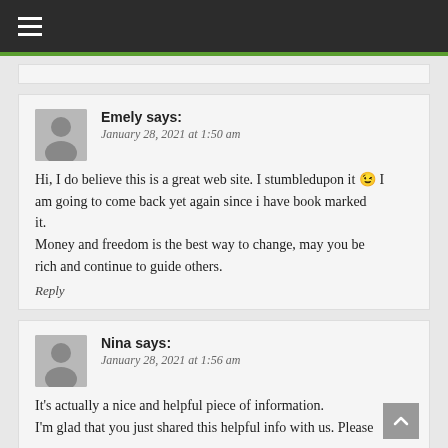≡
Emely says: January 28, 2021 at 1:50 am
Hi, I do believe this is a great web site. I stumbledupon it 😉 I am going to come back yet again since i have book marked it. Money and freedom is the best way to change, may you be rich and continue to guide others.
Reply
Nina says: January 28, 2021 at 1:56 am
It's actually a nice and helpful piece of information. I'm glad that you just shared this helpful info with us. Please